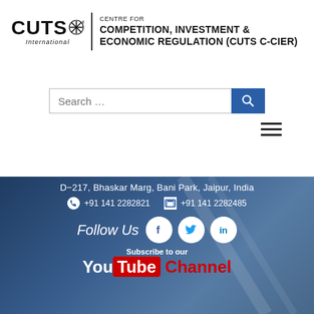[Figure (logo): CUTS International logo with star emblem and text: CUTS International | CENTRE FOR COMPETITION, INVESTMENT & ECONOMIC REGULATION (CUTS C-CIER)]
[Figure (other): Search bar with text 'Search ...' and blue search button with magnifying glass icon]
[Figure (other): Hamburger menu icon (three horizontal lines) in top right]
D-217, Bhaskar Marg, Bani Park, Jaipur, India
+91 141 2282821  +91 141 2282485
Follow Us
[Figure (other): Social media icons: Facebook, Twitter, LinkedIn (white circles on dark background)]
Subscribe to our
[Figure (logo): YouTube Channel badge with red YouTube logo and red 'Channel' text]